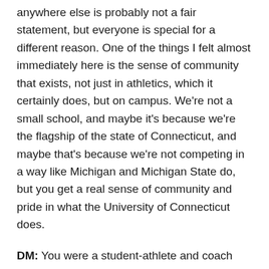anywhere else is probably not a fair statement, but everyone is special for a different reason. One of the things I felt almost immediately here is the sense of community that exists, not just in athletics, which it certainly does, but on campus. We're not a small school, and maybe it's because we're the flagship of the state of Connecticut, and maybe that's because we're not competing in a way like Michigan and Michigan State do, but you get a real sense of community and pride in what the University of Connecticut does.
DM: You were a student-athlete and coach before joining the administrative side of athletics. What lessons do you take away from that time and apply toward your job today?
BG: As an athlete, I was so grateful for the opportunity to participate. I don't know if it's fair to say that athletes today aren't, but there weren't so many opportunities then and the